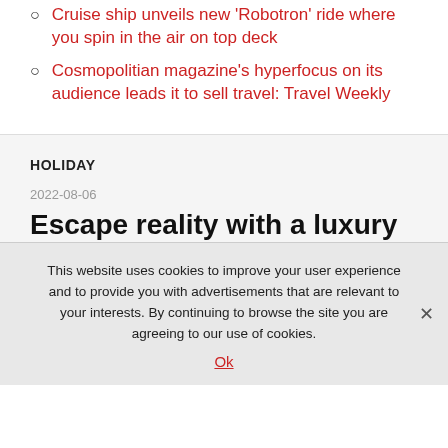Cruise ship unveils new ‘Robotron’ ride where you spin in the air on top deck
Cosmopolitian magazine’s hyperfocus on its audience leads it to sell travel: Travel Weekly
HOLIDAY
2022-08-06
Escape reality with a luxury
This website uses cookies to improve your user experience and to provide you with advertisements that are relevant to your interests. By continuing to browse the site you are agreeing to our use of cookies.
Ok